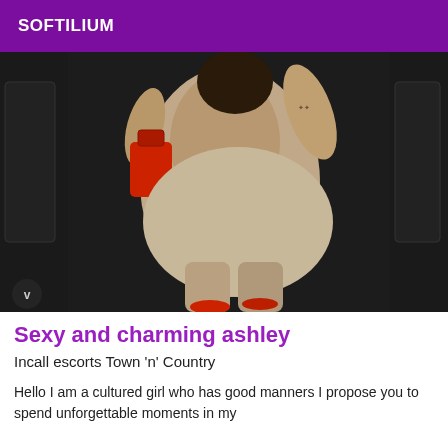SOFTILIUM
[Figure (photo): A woman in a tight beige/nude bodysuit photographed from behind, standing next to a car door, holding a red handbag. A tattoo is visible on her arm.]
Sexy and charming ashley
Incall escorts Town 'n' Country
Hello I am a cultured girl who has good manners I propose you to spend unforgettable moments in my